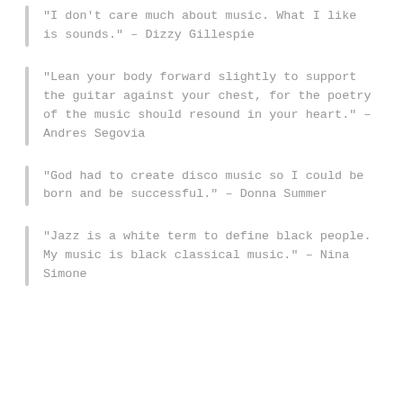“I don’t care much about music. What I like is sounds.” – Dizzy Gillespie
“Lean your body forward slightly to support the guitar against your chest, for the poetry of the music should resound in your heart.” – Andres Segovia
“God had to create disco music so I could be born and be successful.” – Donna Summer
“Jazz is a white term to define black people. My music is black classical music.” – Nina Simone